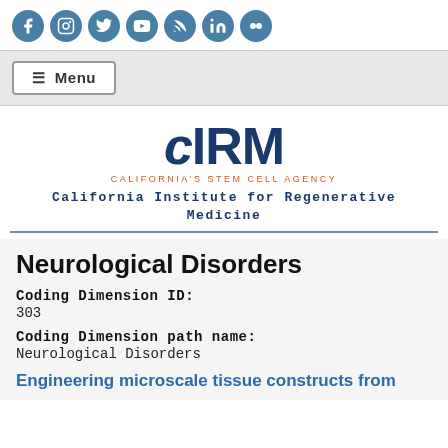[Figure (other): Social media icons bar: Facebook, Instagram, Twitter, YouTube, RSS, LinkedIn, Flickr]
☰ Menu
[Figure (logo): CIRM - California's Stem Cell Agency logo with text 'California Institute for Regenerative Medicine']
Neurological Disorders
Coding Dimension ID:
303
Coding Dimension path name:
Neurological Disorders
Engineering microscale tissue constructs from